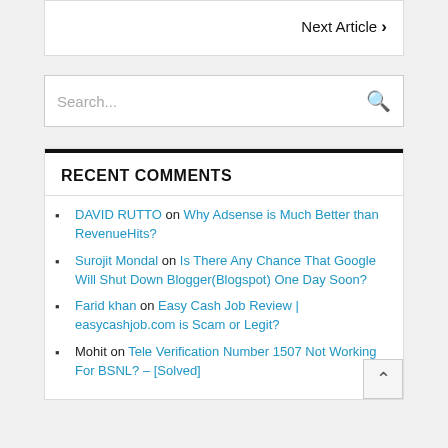Next Article ›
Search...
RECENT COMMENTS
DAVID RUTTO on Why Adsense is Much Better than RevenueHits?
Surojit Mondal on Is There Any Chance That Google Will Shut Down Blogger(Blogspot) One Day Soon?
Farid khan on Easy Cash Job Review | easycashjob.com is Scam or Legit?
Mohit on Tele Verification Number 1507 Not Working For BSNL? – [Solved]